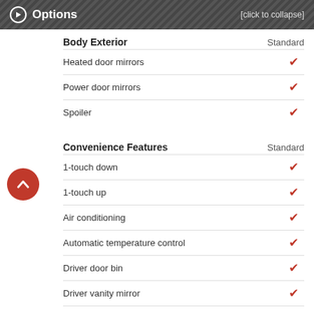Options [click to collapse]
Body Exterior  Standard
Heated door mirrors ✓
Power door mirrors ✓
Spoiler ✓
Convenience Features  Standard
1-touch down ✓
1-touch up ✓
Air conditioning ✓
Automatic temperature control ✓
Driver door bin ✓
Driver vanity mirror ✓
Front beverage holders ✓
Front dual zone A/C ✓
Illuminated entry ✓
Passenger door bin ✓